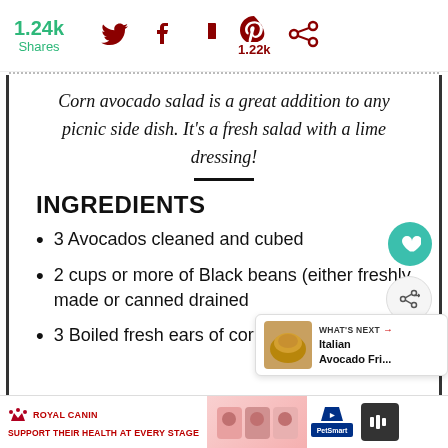1.24k Shares | Social share icons: Twitter, Facebook, Flipboard, Pinterest (1.22k), other
Corn avocado salad is a great addition to any picnic side dish. It's a fresh salad with a lime dressing!
INGREDIENTS
3 Avocados cleaned and cubed
2 cups or more of Black beans (either freshly made or canned drained
3 Boiled fresh ears of corn cut off the